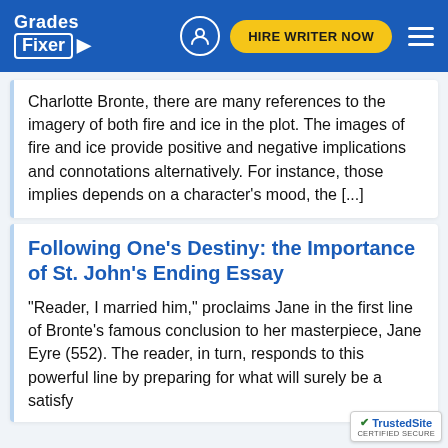Grades Fixer | HIRE WRITER NOW
Charlotte Bronte, there are many references to the imagery of both fire and ice in the plot. The images of fire and ice provide positive and negative implications and connotations alternatively. For instance, those implies depends on a character's mood, the [...]
Following One's Destiny: the Importance of St. John's Ending Essay
"Reader, I married him," proclaims Jane in the first line of Bronte's famous conclusion to her masterpiece, Jane Eyre (552). The reader, in turn, responds to this powerful line by preparing for what will surely be a satisfy